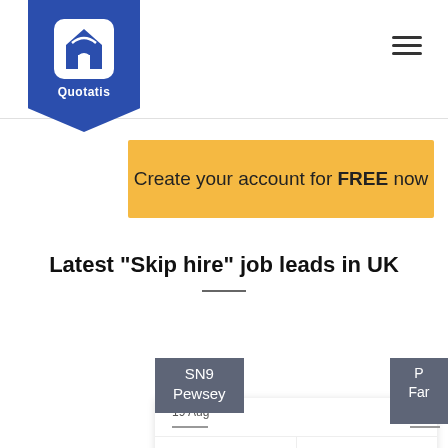[Figure (logo): Quotatis logo - blue shield/badge shape with house icon and 'Quotatis' text in white]
Create your account for FREE now
Latest "Skip hire" job leads in UK
SN9
Pewsey
19 Aug
- A...
CLIENT
01X XXXX XX18
TELEPHONE
Garden sh***nd8y quote